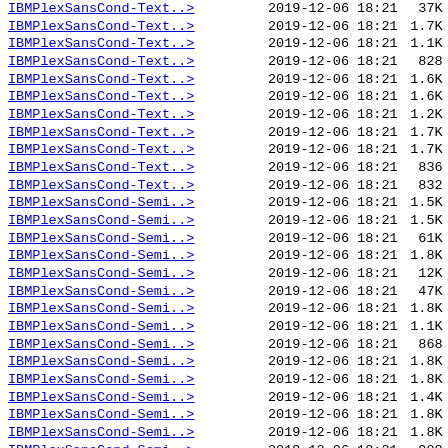| Name | Date | Time | Size |
| --- | --- | --- | --- |
| IBMPlexSansCond-Text..> | 2019-12-06 | 18:21 | 37K |
| IBMPlexSansCond-Text..> | 2019-12-06 | 18:21 | 1.7K |
| IBMPlexSansCond-Text..> | 2019-12-06 | 18:21 | 1.1K |
| IBMPlexSansCond-Text..> | 2019-12-06 | 18:21 | 828 |
| IBMPlexSansCond-Text..> | 2019-12-06 | 18:21 | 1.6K |
| IBMPlexSansCond-Text..> | 2019-12-06 | 18:21 | 1.6K |
| IBMPlexSansCond-Text..> | 2019-12-06 | 18:21 | 1.2K |
| IBMPlexSansCond-Text..> | 2019-12-06 | 18:21 | 1.7K |
| IBMPlexSansCond-Text..> | 2019-12-06 | 18:21 | 1.7K |
| IBMPlexSansCond-Text..> | 2019-12-06 | 18:21 | 836 |
| IBMPlexSansCond-Text..> | 2019-12-06 | 18:21 | 832 |
| IBMPlexSansCond-Semi..> | 2019-12-06 | 18:21 | 1.5K |
| IBMPlexSansCond-Semi..> | 2019-12-06 | 18:21 | 1.5K |
| IBMPlexSansCond-Semi..> | 2019-12-06 | 18:21 | 61K |
| IBMPlexSansCond-Semi..> | 2019-12-06 | 18:21 | 1.8K |
| IBMPlexSansCond-Semi..> | 2019-12-06 | 18:21 | 12K |
| IBMPlexSansCond-Semi..> | 2019-12-06 | 18:21 | 47K |
| IBMPlexSansCond-Semi..> | 2019-12-06 | 18:21 | 1.8K |
| IBMPlexSansCond-Semi..> | 2019-12-06 | 18:21 | 1.1K |
| IBMPlexSansCond-Semi..> | 2019-12-06 | 18:21 | 868 |
| IBMPlexSansCond-Semi..> | 2019-12-06 | 18:21 | 1.8K |
| IBMPlexSansCond-Semi..> | 2019-12-06 | 18:21 | 1.8K |
| IBMPlexSansCond-Semi..> | 2019-12-06 | 18:21 | 1.4K |
| IBMPlexSansCond-Semi..> | 2019-12-06 | 18:21 | 1.8K |
| IBMPlexSansCond-Semi..> | 2019-12-06 | 18:21 | 1.8K |
| IBMPlexSansCond-Semi..> | 2019-12-06 | 18:21 | 900 |
| IBMPlexSansCond-Semi..> | 2019-12-06 | 18:21 | 896 |
| IBMPlexSansCond-Semi..> | 2019-12-06 | 18:21 | 1.4K |
| IBMPlexSansCond-Semi..> | 2019-12-06 | 18:21 | 1.4K |
| IBMPlexSansCond-Semi..> | 2019-12-06 | 18:21 | 49K |
| IBMPlexSansCond-Semi..> | 2019-12-06 | 18:21 | 1.8K |